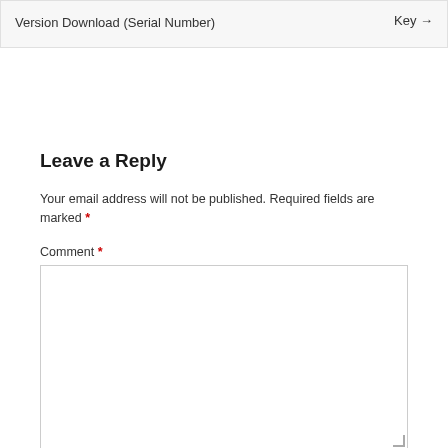| Version Download (Serial Number) | Key → |
| --- | --- |
Leave a Reply
Your email address will not be published. Required fields are marked *
Comment *